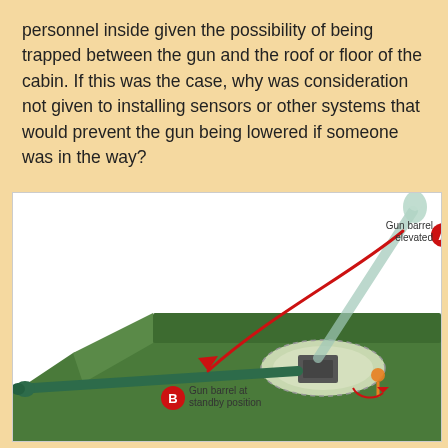personnel inside given the possibility of being trapped between the gun and the roof or floor of the cabin. If this was the case, why was consideration not given to installing sensors or other systems that would prevent the gun being lowered if someone was in the way?
[Figure (illustration): Engineering diagram of a military vehicle gun barrel in two positions. Label A (red circle) shows 'Gun barrel elevated' pointing upward. Label B (red circle) shows 'Gun barrel at standby position' pointing horizontally to the left, with a red curved arrow indicating the movement from elevated to standby. The vehicle turret is shown in green with a circular hatch/opening. A small orange figure is visible at the base of the turret.]